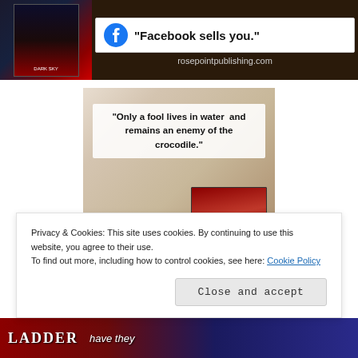[Figure (illustration): Advertisement banner for rosepointpublishing.com featuring a dark book cover, a Facebook icon with text 'Facebook sells you.' and the website URL rosepointpublishing.com]
[Figure (photo): Photo of 'The Henna Artist' book on a table with candles, overlaid with a quote: 'Only a fool lives in water and remains an enemy of the crocodile.']
Privacy & Cookies: This site uses cookies. By continuing to use this website, you agree to their use.
To find out more, including how to control cookies, see here: Cookie Policy
Close and accept
[Figure (illustration): Bottom strip showing partial text: LADDER and partial text 'have they' on a dark red and blue background]